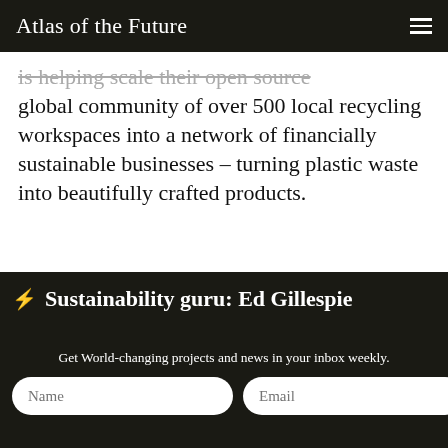Atlas of the Future
is helping scale their open source global community of over 500 local recycling workspaces into a network of financially sustainable businesses – turning plastic waste into beautifully crafted products.
⚡ Sustainability guru: Ed Gillespie
[Figure (photo): Black and white illustration or photo of street lamp posts, partially visible at bottom of content area]
Get World-changing projects and news in your inbox weekly.